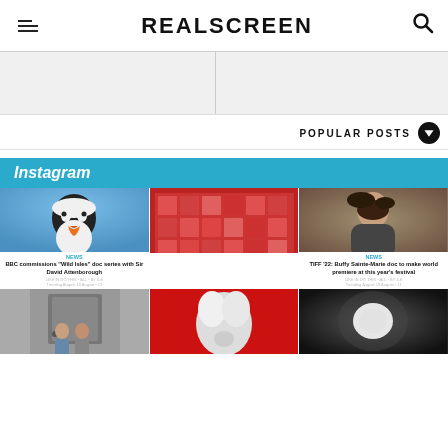REALSCREEN
POPULAR POSTS
Instagram
[Figure (photo): Close-up photo of a puffin bird against a blurred background]
NEWS
BBC commissions "Wild Isles" doc series with Sir David Attenborough
LIKE IN DO THIS • ALL • BY ILE
Trending August 10 August • 11
[Figure (photo): Person standing in front of a large wall covered with red photo portraits]
[Figure (photo): Portrait of a young woman with long dark hair wearing a leather jacket]
NEWS
TIFF '22: Buffy Sainte-Marie doc to make world premiere at this year's festival
LIKE IN DO THIS • ALL • BY ILE
Trending August 10 August • 11
[Figure (photo): Two people standing in a doorway of a stone building]
[Figure (photo): Abstract red background with white sculptural rabbit figure]
[Figure (photo): Dark abstract or nature photograph]